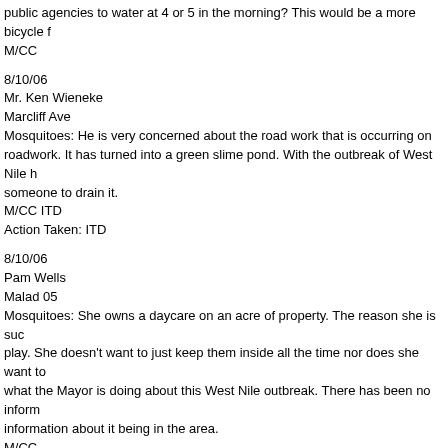public agencies to water at 4 or 5 in the morning? This would be a more bicycle f M/CC
8/10/06
Mr. Ken Wieneke
Marcliff Ave
Mosquitoes: He is very concerned about the road work that is occurring on roadwork. It has turned into a green slime pond. With the outbreak of West Nile h someone to drain it.
M/CC ITD
Action Taken: ITD
8/10/06
Pam Wells
Malad 05
Mosquitoes: She owns a daycare on an acre of property. The reason she is suc play. She doesn't want to just keep them inside all the time nor does she want to what the Mayor is doing about this West Nile outbreak. There has been no inform information about it being in the area.
M/CC
Action Taken: contacted her
8/10/06
Teresa Lewis
5537 N. Rivulet Way